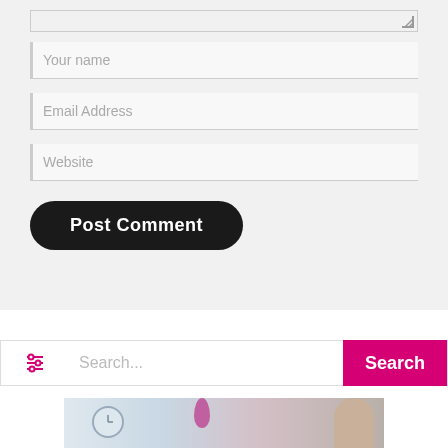[Figure (screenshot): Partial textarea form field at top of page with resize handle visible]
Your name
Email Address
Website
Post Comment
Search...
Search
[Figure (photo): Photo showing interior scene with clock on wall, pink orchid flowers, and a person (likely a professional or patient) visible on the right side]